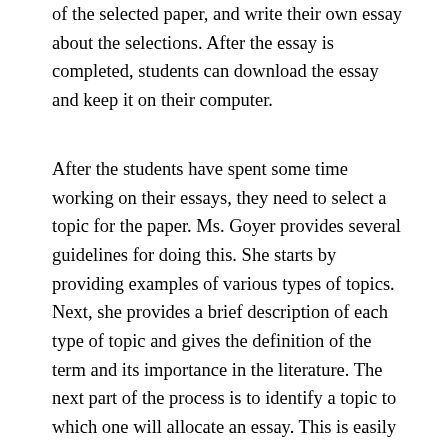of the selected paper, and write their own essay about the selections. After the essay is completed, students can download the essay and keep it on their computer.
After the students have spent some time working on their essays, they need to select a topic for the paper. Ms. Goyer provides several guidelines for doing this. She starts by providing examples of various types of topics. Next, she provides a brief description of each type of topic and gives the definition of the term and its importance in the literature. The next part of the process is to identify a topic to which one will allocate an essay. This is easily done, by simply selecting the topic from the list that was provided.